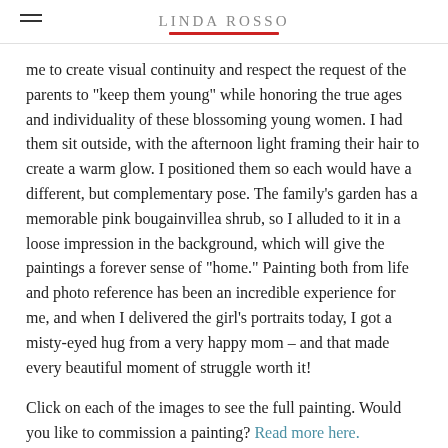LINDA ROSSO
me to create visual continuity and respect the request of the parents to "keep them young" while honoring the true ages and individuality of these blossoming young women. I had them sit outside, with the afternoon light framing their hair to create a warm glow. I positioned them so each would have a different, but complementary pose. The family's garden has a memorable pink bougainvillea shrub, so I alluded to it in a loose impression in the background, which will give the paintings a forever sense of "home." Painting both from life and photo reference has been an incredible experience for me, and when I delivered the girl's portraits today, I got a misty-eyed hug from a very happy mom – and that made every beautiful moment of struggle worth it!
Click on each of the images to see the full painting. Would you like to commission a painting? Read more here.